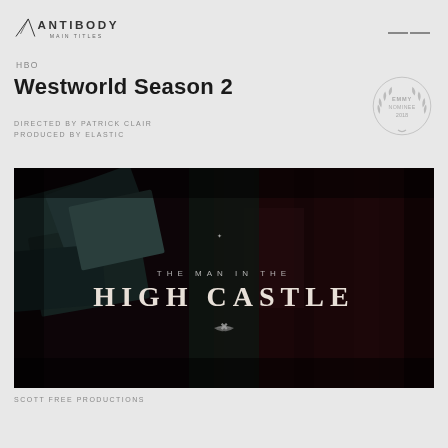ANTIBODY MAIN TITLES
HBO
Westworld Season 2
DIRECTED BY PATRICK CLAIR
PRODUCED BY ELASTIC
[Figure (logo): Emmy Nominee 2018 laurel badge]
[Figure (screenshot): Dark cinematic still from The Man in the High Castle showing a dark background with geometric shapes and large gothic lettering reading THE MAN IN THE HIGH CASTLE with a small eagle emblem below]
SCOTT FREE PRODUCTIONS